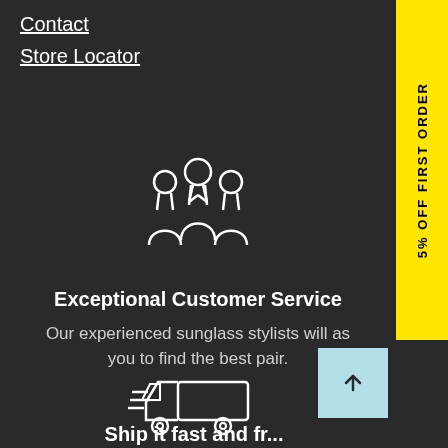Contact
Store Locator
[Figure (illustration): White outline icon of three people/group representing customer service team]
Exceptional Customer Service
Our experienced sunglass stylists will as you to find the best pair.
[Figure (illustration): White outline icon of a delivery truck with speed lines]
[Figure (other): Light blue scroll-to-top button with upward arrow]
5% OFF FIRST ORDER
Ship it fast and fr...